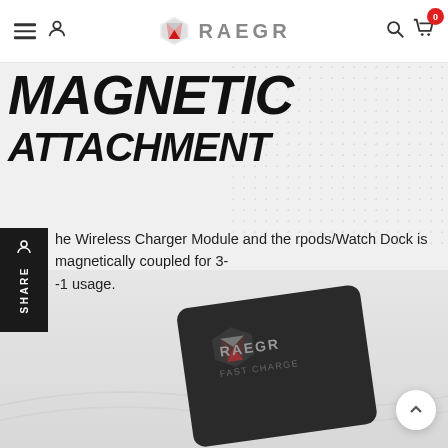RAEGR navigation header with hamburger menu, user icon, RAEGR logo, search icon, and cart with badge 0
MAGNETIC ATTACHMENT
The Wireless Charger Module and the Airpods/Watch Dock is magnetically coupled for 3-in-1 usage.
[Figure (photo): RAEGR wireless charger module product photo - dark rectangular device with RAEGR FAST CHARGE branding shown at an angle on a light grey background]